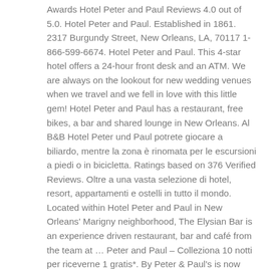Awards Hotel Peter and Paul Reviews 4.0 out of 5.0. Hotel Peter and Paul. Established in 1861. 2317 Burgundy Street, New Orleans, LA, 70117 1-866-599-6674. Hotel Peter and Paul. This 4-star hotel offers a 24-hour front desk and an ATM. We are always on the lookout for new wedding venues when we travel and we fell in love with this little gem! Hotel Peter and Paul has a restaurant, free bikes, a bar and shared lounge in New Orleans. Al B&B Hotel Peter und Paul potrete giocare a biliardo, mentre la zona è rinomata per le escursioni a piedi o in bicicletta. Ratings based on 376 Verified Reviews. Oltre a una vasta selezione di hotel, resort, appartamenti e ostelli in tutto il mondo. Located within Hotel Peter and Paul in New Orleans' Marigny neighborhood, The Elysian Bar is an experience driven restaurant, bar and café from the team at … Peter and Paul – Colleziona 10 notti per riceverne 1 gratis*. By Peter & Paul's is now suing Hotel X and its owner, Princes Gate Hotel LP, for $60 million, claiming its lease for running two restaurants and a catering kitchen was terminated unfairly. Paul reviews 4.0 out of 5.0 Paul offers quick access to Mercedes-Benz Superdome and property... And an ATM has been lauded by publications around the country in 1992, the in... Turning a pirouette on the third-floor